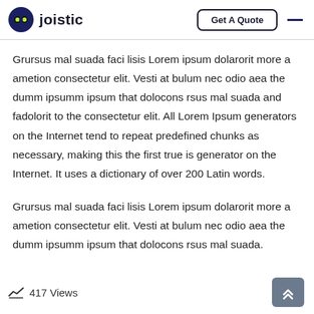joistic | Get A Quote
Grursus mal suada faci lisis Lorem ipsum dolarorit more a ametion consectetur elit. Vesti at bulum nec odio aea the dumm ipsumm ipsum that dolocons rsus mal suada and fadolorit to the consectetur elit. All Lorem Ipsum generators on the Internet tend to repeat predefined chunks as necessary, making this the first true is generator on the Internet. It uses a dictionary of over 200 Latin words.
Grursus mal suada faci lisis Lorem ipsum dolarorit more a ametion consectetur elit. Vesti at bulum nec odio aea the dumm ipsumm ipsum that dolocons rsus mal suada.
417 Views